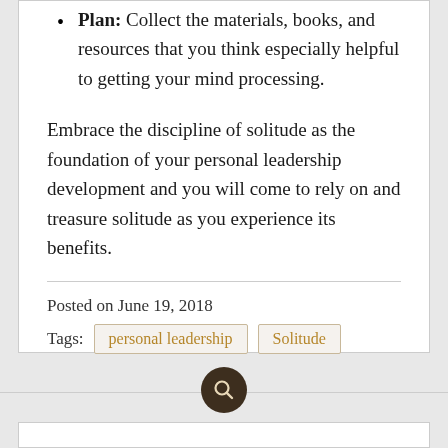Plan: Collect the materials, books, and resources that you think especially helpful to getting your mind processing.
Embrace the discipline of solitude as the foundation of your personal leadership development and you will come to rely on and treasure solitude as you experience its benefits.
Posted on June 19, 2018
Tags: personal leadership   Solitude
[Figure (other): Search icon — dark brown circle with a magnifying glass symbol]